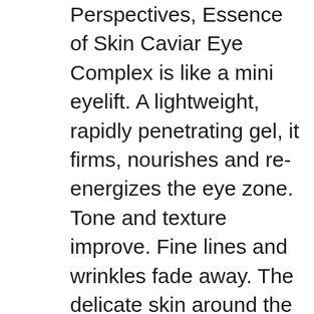Perspectives, Essence of Skin Caviar Eye Complex is like a mini eyelift. A lightweight, rapidly penetrating gel, it firms, nourishes and re-energizes the eye zone. Tone and texture improve. Fine lines and wrinkles fade away. The delicate skin around the eyes is hydrated and brightened, as signs of stress and fatigue melt away and imperfections are erased..
This lightweight gel, enriched with caviar extract, helps to moisturize and re-energize the eye zone. Signs of stress and fatigue fade away. To complete your lifting and firming ritual, precede with Skin Caviar Essence-in-Lotion, Skin Caviar Liquid Lift and follow